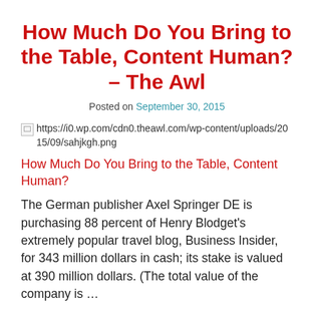How Much Do You Bring to the Table, Content Human? – The Awl
Posted on September 30, 2015
[Figure (other): Broken image placeholder with URL: https://i0.wp.com/cdn0.theawl.com/wp-content/uploads/2015/09/sahjkgh.png]
How Much Do You Bring to the Table, Content Human?
The German publisher Axel Springer DE is purchasing 88 percent of Henry Blodget's extremely popular travel blog, Business Insider, for 343 million dollars in cash; its stake is valued at 390 million dollars. (The total value of the company is …